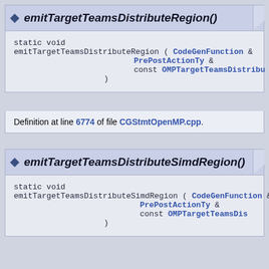emitTargetTeamsDistributeRegion()
static void
emitTargetTeamsDistributeRegion ( CodeGenFunction &
    PrePostActionTy &
    const OMPTargetTeamsDistribu
)
Definition at line 6774 of file CGStmtOpenMP.cpp.
emitTargetTeamsDistributeSimdRegion()
static void
emitTargetTeamsDistributeSimdRegion ( CodeGenFunction &
    PrePostActionTy &
    const OMPTargetTeamsDis
)